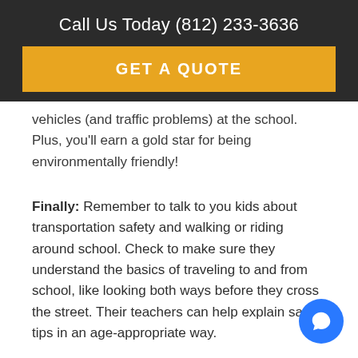Call Us Today (812) 233-3636
GET A QUOTE
vehicles (and traffic problems) at the school. Plus, you'll earn a gold star for being environmentally friendly!
Finally: Remember to talk to you kids about transportation safety and walking or riding around school. Check to make sure they understand the basics of traveling to and from school, like looking both ways before they cross the street. Their teachers can help explain safety tips in an age-appropriate way.